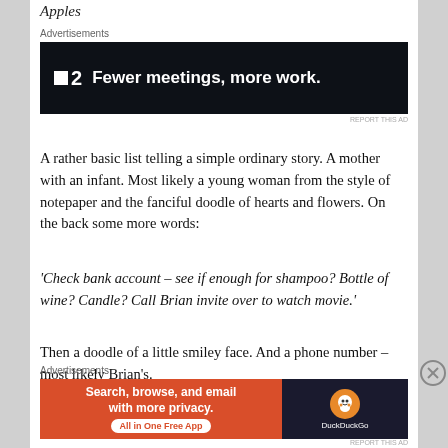Apples
Advertisements
[Figure (screenshot): Dark advertisement banner for F2 app with text 'Fewer meetings, more work.' on black background]
A rather basic list telling a simple ordinary story. A mother with an infant. Most likely a young woman from the style of notepaper and the fanciful doodle of hearts and flowers. On the back some more words:
‘Check bank account – see if enough for shampoo? Bottle of wine? Candle? Call Brian invite over to watch movie.’
Then a doodle of a little smiley face. And a phone number – most likely Brian’s.
Advertisements
[Figure (screenshot): DuckDuckGo advertisement banner: orange section with text 'Search, browse, and email with more privacy. All in One Free App' and dark section with DuckDuckGo logo]